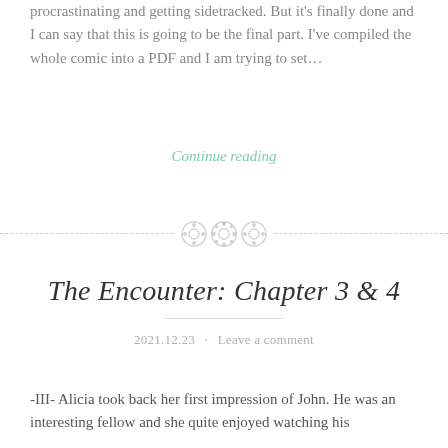procrastinating and getting sidetracked. But it's finally done and I can say that this is going to be the final part. I've compiled the whole comic into a PDF and I am trying to set…
Continue reading
[Figure (illustration): Decorative divider with three button-like circular icons centered between two dashed horizontal lines]
The Encounter: Chapter 3 & 4
2021.12.23 · Leave a comment
-III- Alicia took back her first impression of John. He was an interesting fellow and she quite enjoyed watching his